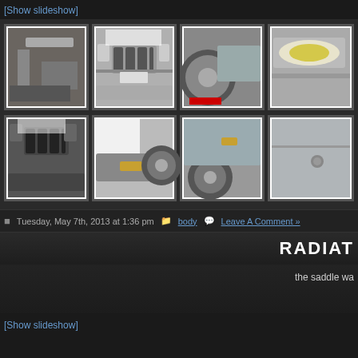[Show slideshow]
[Figure (photo): Gallery of 8 car body/bumper modification photos shown in a 4x2 grid. Photos show BMW E24 or similar car with front bumper and body panel work in a garage/shop setting. Photos include close-ups of body panels, front bumpers, wheel arches, and headlights.]
Tuesday, May 7th, 2013 at 1:36 pm   body   Leave A Comment »
RADIAT
the saddle wa
[Show slideshow]